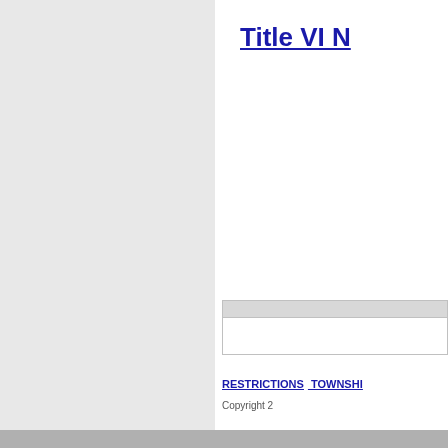Title VI N
RESTRICTIONS  TOWNSHIP
Copyright 2